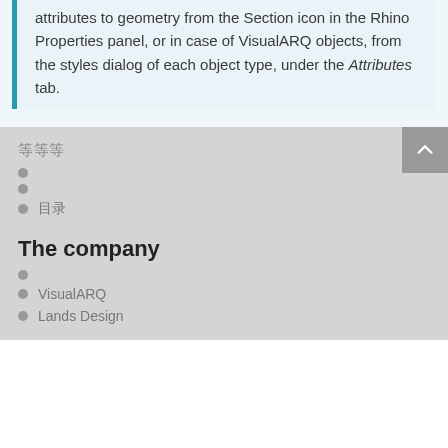attributes to geometry from the Section icon in the Rhino Properties panel, or in case of VisualARQ objects, from the styles dialog of each object type, under the Attributes tab.
等等等
目录
The company
VisualARQ
Lands Design